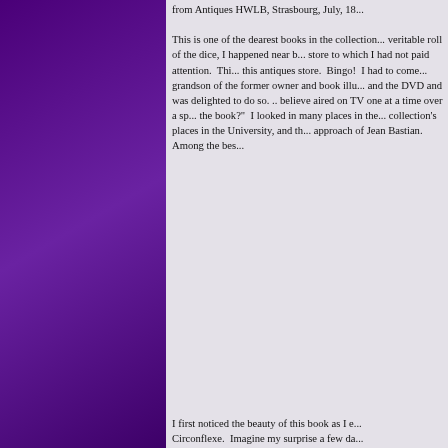from Antiques HWLB, Strasbourg, July, 18...
This is one of the dearest books in the collection...veritable roll of the dice, I happened near b...store to which I had not paid attention. Thi...this antiques store. Bingo! I had to come...grandson of the former owner and book illu...and the DVD and was delighted to do so....believe aired on TV one at a time over a sp...the book?" I looked in many places in the...collection's places in the University, and th...approach of Jean Bastian. Among the bes...
By clicking “Accept All Cookies”, you agree to the storing of cookies on your device to enhance site navigation, analyze site usage, and assist in our marketing efforts. Cookie/Privacy Policy
I first noticed the beauty of this book as I e... Circonflexe. Imagine my surprise a few da...